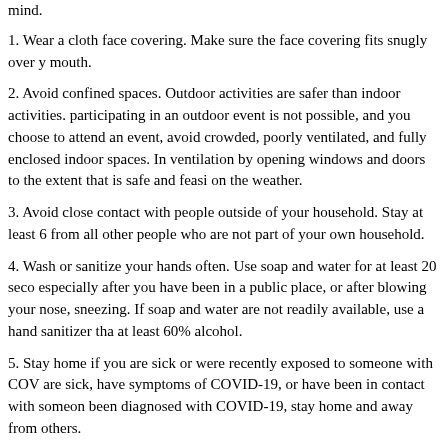mind.
1. Wear a cloth face covering. Make sure the face covering fits snugly over y mouth.
2. Avoid confined spaces. Outdoor activities are safer than indoor activities. participating in an outdoor event is not possible, and you choose to attend an event, avoid crowded, poorly ventilated, and fully enclosed indoor spaces. In ventilation by opening windows and doors to the extent that is safe and feasi on the weather.
3. Avoid close contact with people outside of your household. Stay at least 6 from all other people who are not part of your own household.
4. Wash or sanitize your hands often. Use soap and water for at least 20 seco especially after you have been in a public place, or after blowing your nose, sneezing. If soap and water are not readily available, use a hand sanitizer tha at least 60% alcohol.
5. Stay home if you are sick or were recently exposed to someone with COV are sick, have symptoms of COVID-19, or have been in contact with someon been diagnosed with COVID-19, stay home and away from others.
Read more at: